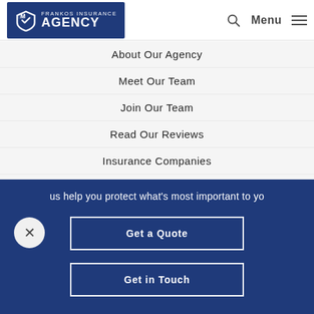Frankos Insurance Agency
About Our Agency
Meet Our Team
Join Our Team
Read Our Reviews
Insurance Companies
We Are Independent
Get Help
us help you protect what's most important to yo
Get a Quote
Get in Touch